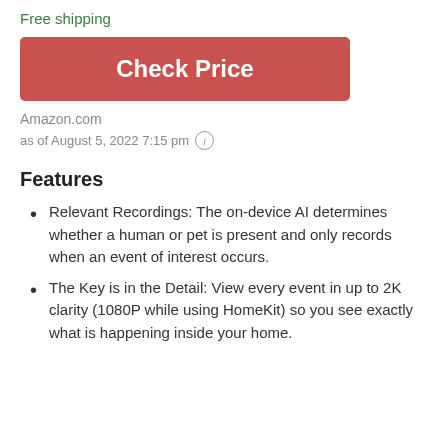Free shipping
Check Price
Amazon.com
as of August 5, 2022 7:15 pm ℹ
Features
Relevant Recordings: The on-device AI determines whether a human or pet is present and only records when an event of interest occurs.
The Key is in the Detail: View every event in up to 2K clarity (1080P while using HomeKit) so you see exactly what is happening inside your home.